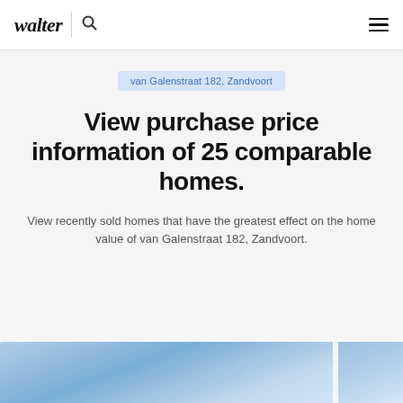walter
van Galenstraat 182, Zandvoort
View purchase price information of 25 comparable homes.
View recently sold homes that have the greatest effect on the home value of van Galenstraat 182, Zandvoort.
[Figure (photo): Two partially visible property photos at the bottom of the page, blurred blue/light colored building exteriors]